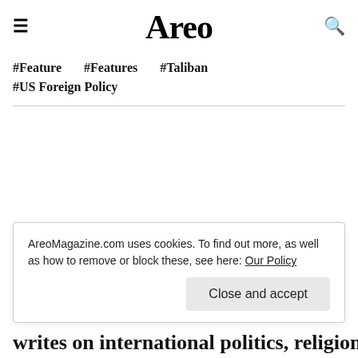Areo
#Feature   #Features   #Taliban
#US Foreign Policy
AreoMagazine.com uses cookies. To find out more, as well as how to remove or block these, see here: Our Policy
Close and accept
writes on international politics, religion,